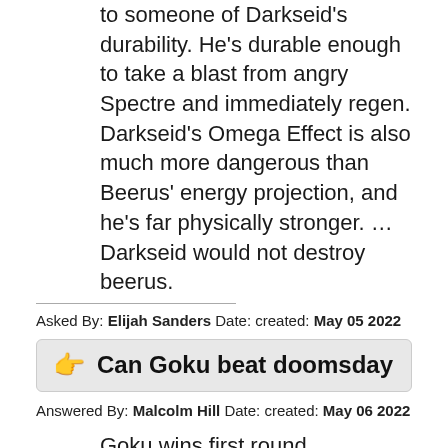to someone of Darkseid's durability. He's durable enough to take a blast from angry Spectre and immediately regen. Darkseid's Omega Effect is also much more dangerous than Beerus' energy projection, and he's far physically stronger. … Darkseid would not destroy beerus.
Asked By: Elijah Sanders Date: created: May 05 2022
👉 Can Goku beat doomsday
Answered By: Malcolm Hill Date: created: May 06 2022
Goku wins first round, Doomsday will get stronger after every fight, until he just overpowers Goku entirely.
Asked By: Albert Alexander Date: created: Jul 03 2021